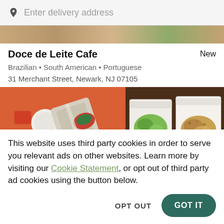Enter delivery address
Doce de Leite Cafe
New
Brazilian • South American • Portuguese
31 Merchant Street, Newark, NJ 07105
[Figure (photo): Food photo showing a burrito wrapped in foil on an orange/red tray on the left, and takeout containers with food on a dark wooden surface on the right.]
This website uses third party cookies in order to serve you relevant ads on other websites. Learn more by visiting our Cookie Statement, or opt out of third party ad cookies using the button below.